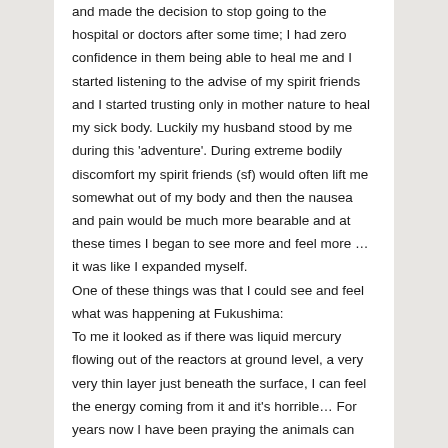and made the decision to stop going to the hospital or doctors after some time; I had zero confidence in them being able to heal me and I started listening to the advise of my spirit friends and I started trusting only in mother nature to heal my sick body. Luckily my husband stood by me during this 'adventure'. During extreme bodily discomfort my spirit friends (sf) would often lift me somewhat out of my body and then the nausea and pain would be much more bearable and at these times I began to see more and feel more … it was like I expanded myself.
One of these things was that I could see and feel what was happening at Fukushima:
To me it looked as if there was liquid mercury flowing out of the reactors at ground level, a very very thin layer just beneath the surface, I can feel the energy coming from it and it's horrible… For years now I have been praying the animals can have a quick painless death; for I cannot see/feel it is possible they could go